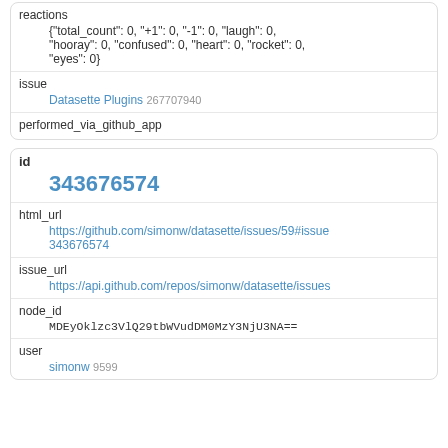| reactions | {"total_count": 0, "+1": 0, "-1": 0, "laugh": 0, "hooray": 0, "confused": 0, "heart": 0, "rocket": 0, "eyes": 0} |
| issue | Datasette Plugins 267707940 |
| performed_via_github_app |  |
| id | 343676574 |
| html_url | https://github.com/simonw/datasette/issues/59#issue343676574 |
| issue_url | https://api.github.com/repos/simonw/datasette/issues |
| node_id | MDEyOklzc3VlQ29tbWVudDM0MzY3NjU3NA== |
| user | simonw 9599 |